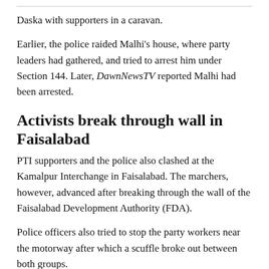Daska with supporters in a caravan.
Earlier, the police raided Malhi’s house, where party leaders had gathered, and tried to arrest him under Section 144. Later, DawnNewsTV reported Malhi had been arrested.
Activists break through wall in Faisalabad
PTI supporters and the police also clashed at the Kamalpur Interchange in Faisalabad. The marchers, however, advanced after breaking through the wall of the Faisalabad Development Authority (FDA).
Police officers also tried to stop the party workers near the motorway after which a scuffle broke out between both groups.
Other cities